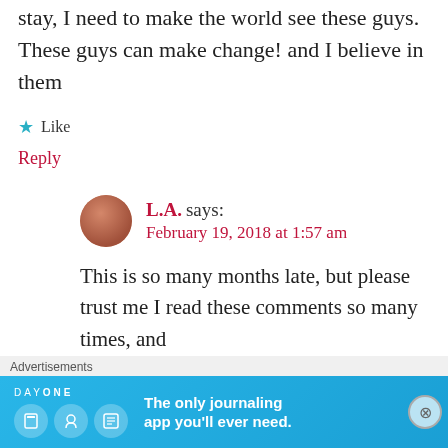stay, I need to make the world see these guys. These guys can make change! and I believe in them
★ Like
Reply
L.A. says: February 19, 2018 at 1:57 am
This is so many months late, but please trust me I read these comments so many times, and
Advertisements
[Figure (other): Day One journaling app advertisement banner with blue background, app icons, and text 'The only journaling app you'll ever need.']